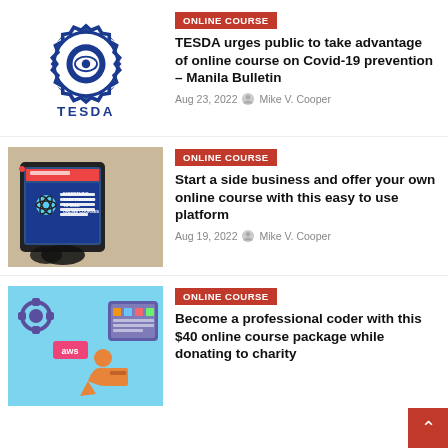[Figure (logo): TESDA logo with gear/eye symbol and TESDA text]
ONLINE COURSE
TESDA urges public to take advantage of online course on Covid-19 prevention – Manila Bulletin
Aug 23, 2022  Mike V. Cooper
[Figure (photo): Tablet showing 'Everything that you need to sell online courses' with glasses in foreground]
ONLINE COURSE
Start a side business and offer your own online course with this easy to use platform
Aug 19, 2022  Mike V. Cooper
[Figure (illustration): Blue background with AWS coding illustration, person at computer with cloud icons]
ONLINE COURSE
Become a professional coder with this $40 online course package while donating to charity